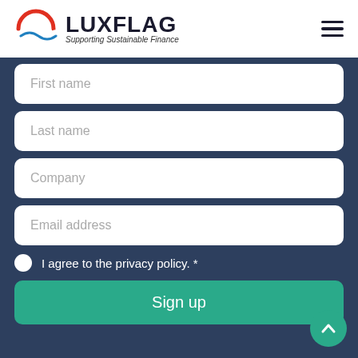LUXFLAG — Supporting Sustainable Finance
First name
Last name
Company
Email address
I agree to the privacy policy. *
Sign up